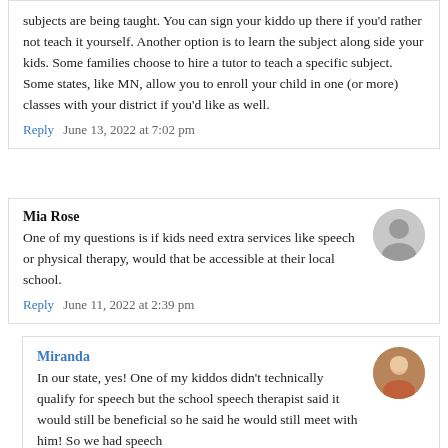subjects are being taught. You can sign your kiddo up there if you'd rather not teach it yourself. Another option is to learn the subject along side your kids. Some families choose to hire a tutor to teach a specific subject. Some states, like MN, allow you to enroll your child in one (or more) classes with your district if you'd like as well.
Reply  June 13, 2022 at 7:02 pm
Mia Rose
One of my questions is if kids need extra services like speech or physical therapy, would that be accessible at their local school.
Reply  June 11, 2022 at 2:39 pm
Miranda
In our state, yes! One of my kiddos didn't technically qualify for speech but the school speech therapist said it would still be beneficial so he said he would still meet with him! So we had speech